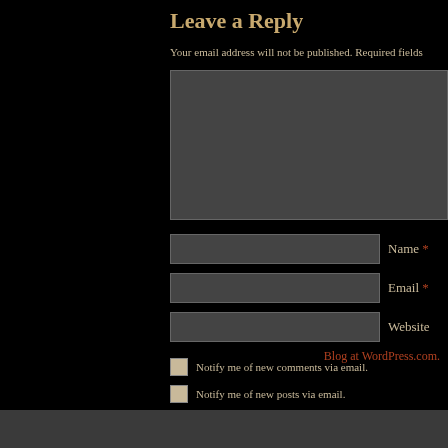Leave a Reply
Your email address will not be published. Required fields
Name *
Email *
Website
Notify me of new comments via email.
Notify me of new posts via email.
Blog at WordPress.com.